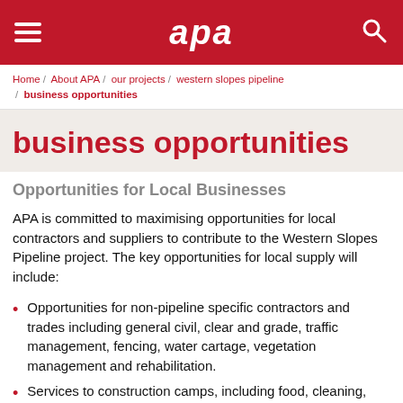apa
Home / About APA / our projects / western slopes pipeline / business opportunities
business opportunities
Opportunities for Local Businesses
APA is committed to maximising opportunities for local contractors and suppliers to contribute to the Western Slopes Pipeline project. The key opportunities for local supply will include:
Opportunities for non-pipeline specific contractors and trades including general civil, clear and grade, traffic management, fencing, water cartage, vegetation management and rehabilitation.
Services to construction camps, including food, cleaning,